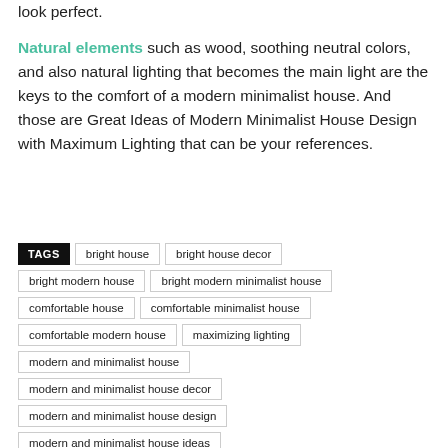look perfect.
Natural elements such as wood, soothing neutral colors, and also natural lighting that becomes the main light are the keys to the comfort of a modern minimalist house. And those are Great Ideas of Modern Minimalist House Design with Maximum Lighting that can be your references.
TAGS: bright house, bright house decor, bright modern house, bright modern minimalist house, comfortable house, comfortable minimalist house, comfortable modern house, maximizing lighting, modern and minimalist house, modern and minimalist house decor, modern and minimalist house design, modern and minimalist house ideas, modern and minimalist house tips